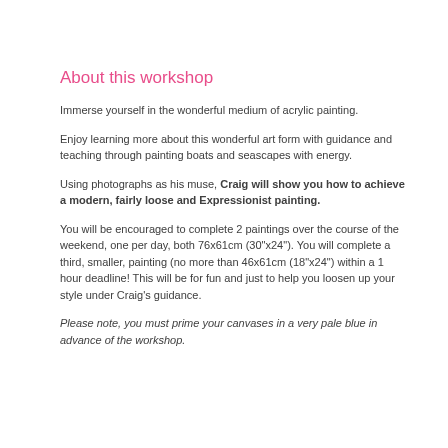About this workshop
Immerse yourself in the wonderful medium of acrylic painting.
Enjoy learning more about this wonderful art form with guidance and teaching through painting boats and seascapes with energy.
Using photographs as his muse, Craig will show you how to achieve a modern, fairly loose and Expressionist painting.
You will be encouraged to complete 2 paintings over the course of the weekend, one per day, both 76x61cm (30"x24"). You will complete a third, smaller, painting (no more than 46x61cm (18"x24") within a 1 hour deadline! This will be for fun and just to help you loosen up your style under Craig's guidance.
Please note, you must prime your canvases in a very pale blue in advance of the workshop.